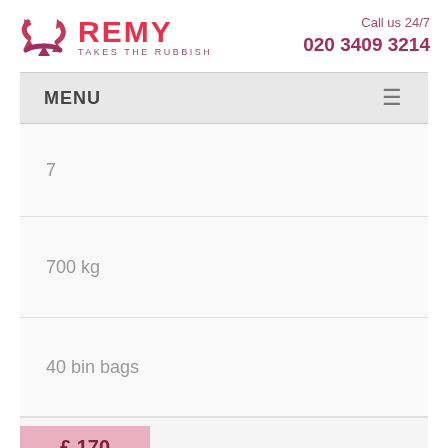[Figure (logo): Remy Takes the Rubbish logo with recycling arrows icon in pink/red]
Call us 24/7
020 3409 3214
MENU
7
700 kg
40 bin bags
£ 170
3/4 Load